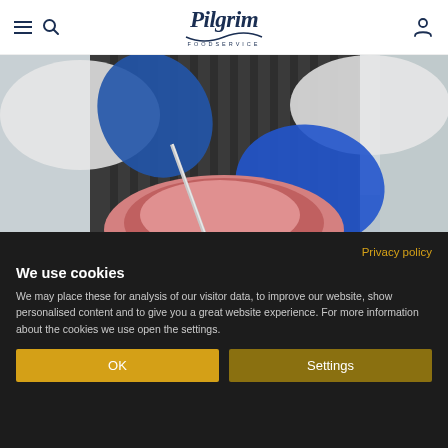Pilgrim Foodservice navigation header with hamburger menu, search icon, logo, and user icon
[Figure (photo): Person wearing blue gloves and striped apron cutting raw meat with a knife in a professional kitchen setting]
Privacy policy
We use cookies
We may place these for analysis of our visitor data, to improve our website, show personalised content and to give you a great website experience. For more information about the cookies we use open the settings.
OK
Settings